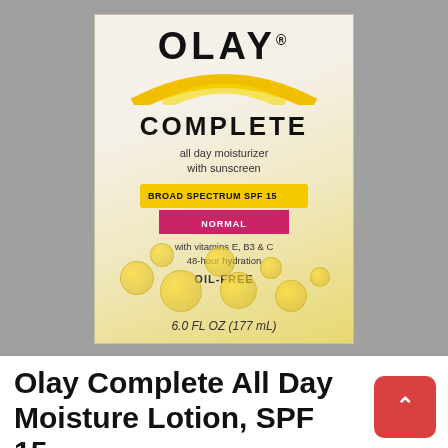[Figure (photo): Olay Complete All Day Moisturizer with Sunscreen product box. White/cream and yellow packaging showing OLAY logo, COMPLETE text, 'all day moisturizer with sunscreen', 'BROAD SPECTRUM SPF 15', 'NORMAL' skin type in pink badge, 'with vitamins E, B3 & C', '48-hour hydration', 'OIL-FREE', '6.0 FL OZ (177 mL)']
Olay Complete All Day Moisture Lotion, SPF 15,